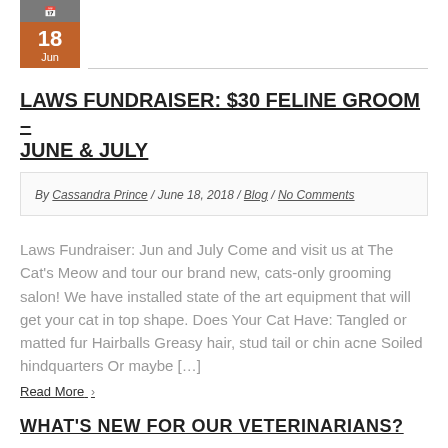[Figure (other): Calendar date block showing 18 Jun with orange background]
LAWS FUNDRAISER: $30 FELINE GROOM – JUNE & JULY
By Cassandra Prince / June 18, 2018 / Blog / No Comments
Laws Fundraiser: Jun and July Come and visit us at The Cat's Meow and tour our brand new, cats-only grooming salon! We have installed state of the art equipment that will get your cat in top shape. Does Your Cat Have: Tangled or matted fur Hairballs Greasy hair, stud tail or chin acne Soiled hindquarters Or maybe […]
Read More
WHAT'S NEW FOR OUR VETERINARIANS?